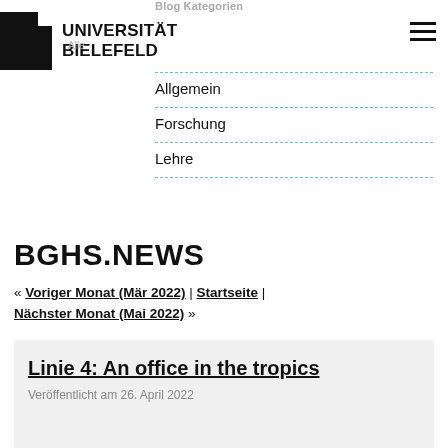Blog Kategorien
UNIVERSITÄT BIELEFELD
Allgemein
Forschung
Lehre
BGHS.NEWS
« Voriger Monat (Mär 2022) | Startseite | Nächster Monat (Mai 2022) »
Linie 4: An office in the tropics
Veröffentlicht am 26. April 2022